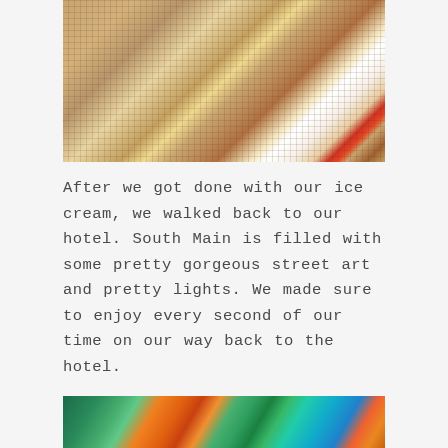[Figure (photo): Close-up photo of ice cream sundae with whipped cream, strawberry sauce, and crumble toppings on a mesh/grid surface]
After we got done with our ice cream, we walked back to our hotel. South Main is filled with some pretty gorgeous street art and pretty lights. We made sure to enjoy every second of our time on our way back to the hotel.
[Figure (photo): Partial photo of colorful street art mural with bright oranges, greens, teals, and blues visible at bottom of page]